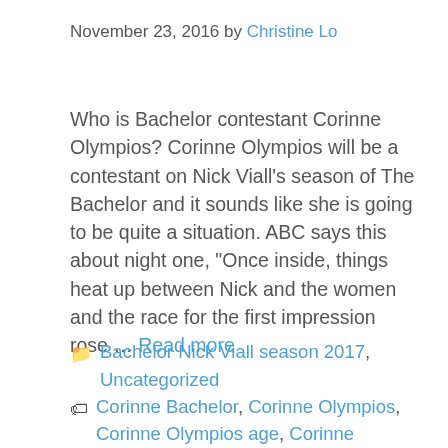November 23, 2016 by Christine Lo
Who is Bachelor contestant Corinne Olympios? Corinne Olympios will be a contestant on Nick Viall's season of The Bachelor and it sounds like she is going to be quite a situation. ABC says this about night one, “Once inside, things heat up between Nick and the women and the race for the first impression rose … Read more
Categories: Bachelor Nick Viall season 2017, Uncategorized
Tags: Corinne Bachelor, Corinne Olympios, Corinne Olympios age, Corinne Olympios Akon, Corinne Olympios bachelor, Corinne